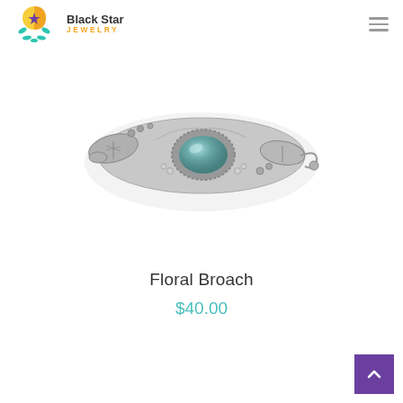Black Star Jewelry
[Figure (photo): Silver floral broach with an oval blue-green gemstone in the center, surrounded by decorative silver leaves, flowers, and beaded rope details.]
Floral Broach
$40.00